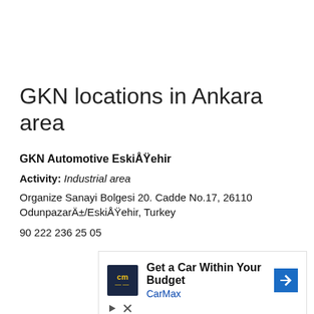GKN locations in Ankara area
GKN Automotive EskiÅŸehir
Activity: Industrial area
Organize Sanayi Bolgesi 20. Cadde No.17, 26110 OdunpazarÄ±/EskiÅŸehir, Turkey
90 222 236 25 05
[Figure (other): Advertisement banner: CarMax - Get a Car Within Your Budget]